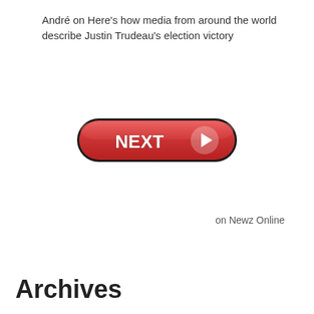André on Here's how media from around the world describe Justin Trudeau's election victory
[Figure (other): A red pill-shaped NEXT button with white bold text 'NEXT' and a circular arrow icon on the right side]
on Newz Online
Archives